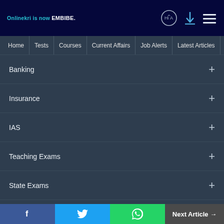Onlinekri is now EMBIBE.
Home | Tests | Courses | Current Affairs | Job Alerts | Latest Articles
Banking +
Insurance +
IAS +
Teaching Exams +
State Exams +
Defence +
ABOUT ONLINE TYARI +
f | Twitter | WhatsApp | Next Article →